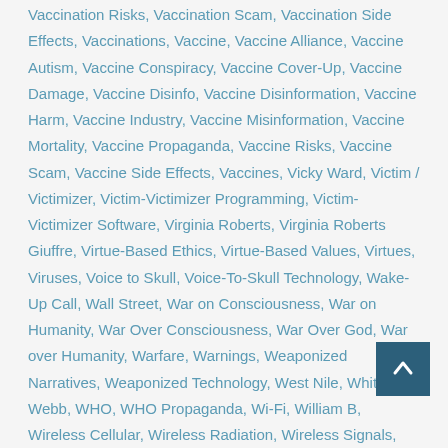Vaccination Risks, Vaccination Scam, Vaccination Side Effects, Vaccinations, Vaccine, Vaccine Alliance, Vaccine Autism, Vaccine Conspiracy, Vaccine Cover-Up, Vaccine Damage, Vaccine Disinfo, Vaccine Disinformation, Vaccine Harm, Vaccine Industry, Vaccine Misinformation, Vaccine Mortality, Vaccine Propaganda, Vaccine Risks, Vaccine Scam, Vaccine Side Effects, Vaccines, Vicky Ward, Victim / Victimizer, Victim-Victimizer Programming, Victim-Victimizer Software, Virginia Roberts, Virginia Roberts Giuffre, Virtue-Based Ethics, Virtue-Based Values, Virtues, Viruses, Voice to Skull, Voice-To-Skull Technology, Wake-Up Call, Wall Street, War on Consciousness, War on Humanity, War Over Consciousness, War Over God, War over Humanity, Warfare, Warnings, Weaponized Narratives, Weaponized Technology, West Nile, Whitney Webb, WHO, WHO Propaganda, Wi-Fi, William B, Wireless Cellular, Wireless Radiation, Wireless Signals, Wireless Technology, World, World Alternative Media, World Bank, World Domination, World Government, World Health Organization, World Health Organization (WHO), World